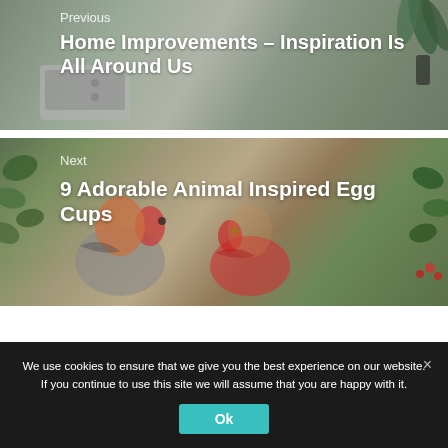[Figure (photo): Navigation block: Previous article image showing a kitchen scene with appliances and a plant]
Previous
Home Improvements – Inspiration Is All Around Us
[Figure (photo): Navigation block: Next article image showing decorative bird-shaped egg cups with eggs]
Next
9 Adorable Animal Inspired Egg Cups
We use cookies to ensure that we give you the best experience on our website. If you continue to use this site we will assume that you are happy with it.